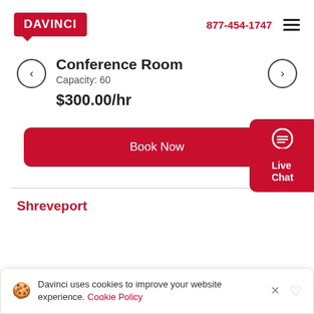[Figure (logo): DAVINCI red logo with speech bubble pointer]
877-454-1747
[Figure (other): Hamburger menu icon (three horizontal lines)]
[Figure (other): Left navigation arrow circle button]
Conference Room
Capacity: 60
$300.00/hr
[Figure (other): Right navigation arrow circle button]
[Figure (other): Book Now red button]
Shreveport
[Figure (other): Live Chat red widget partially visible at right edge]
Davinci uses cookies to improve your website experience. Cookie Policy